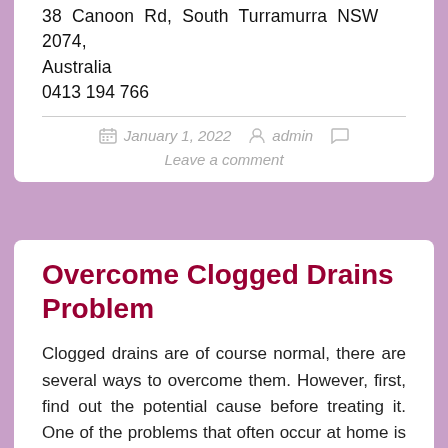38 Canoon Rd, South Turramurra NSW 2074, Australia
0413 194 766
January 1, 2022  admin  Leave a comment
Overcome Clogged Drains Problem
Clogged drains are of course normal, there are several ways to overcome them. However, first, find out the potential cause before treating it. One of the problems that often occur at home is clogged drains or leaky faucets, this can happen